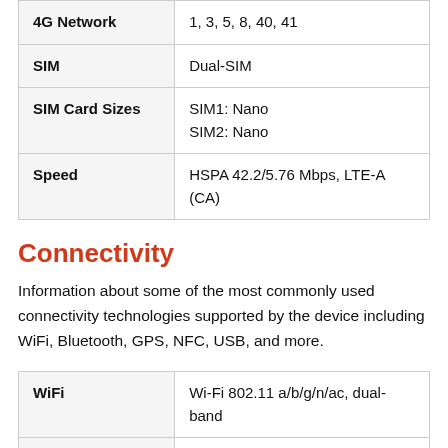|  |  |
| --- | --- |
| 4G Network | 1, 3, 5, 8, 40, 41 |
| SIM | Dual-SIM |
| SIM Card Sizes | SIM1: Nano
SIM2: Nano |
| Speed | HSPA 42.2/5.76 Mbps, LTE-A (CA) |
Connectivity
Information about some of the most commonly used connectivity technologies supported by the device including WiFi, Bluetooth, GPS, NFC, USB, and more.
|  |  |
| --- | --- |
| WiFi | Wi-Fi 802.11 a/b/g/n/ac, dual-band |
| WiFi Features | Wi-Fi Direct, Mobile Hotspot |
| Bluetooth | 5.1 |
| GPS | Yes, with A-GPS, Glonass, Galileo |
| NFC |  |